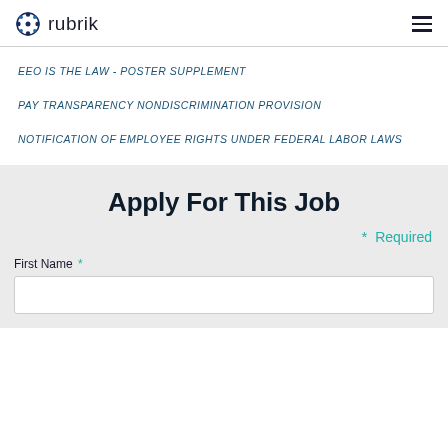rubrik
EEO IS THE LAW - POSTER SUPPLEMENT
PAY TRANSPARENCY NONDISCRIMINATION PROVISION
NOTIFICATION OF EMPLOYEE RIGHTS UNDER FEDERAL LABOR LAWS
Apply For This Job
* Required
First Name *